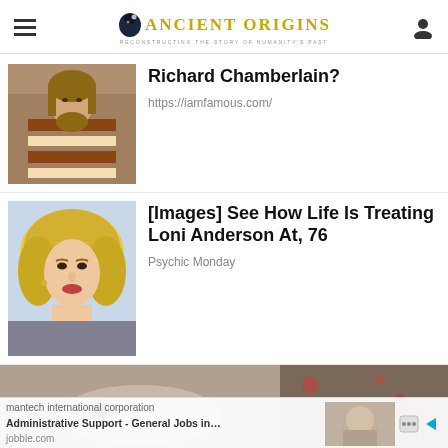Ancient Origins — Reconstructing the Story of Humanity's Past
Richard Chamberlain?
https://iamfamous.com/
[Figure (photo): Man with long hair and beard wearing a striped robe]
[Images] See How Life Is Treating Loni Anderson At, 76
Psychic Monday
[Figure (photo): Blonde woman portrait, appears to be Loni Anderson]
[Figure (photo): Partial face of woman, bottom banner image]
mantech international corporation
Administrative Support - General Jobs in…
jobble.com